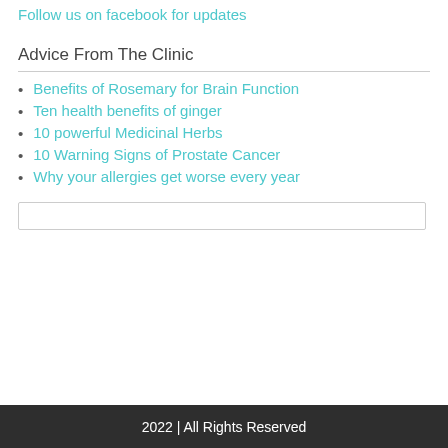Follow us on facebook for updates
Advice From The Clinic
Benefits of Rosemary for Brain Function
Ten health benefits of ginger
10 powerful Medicinal Herbs
10 Warning Signs of Prostate Cancer
Why your allergies get worse every year
2022 | All Rights Reserved